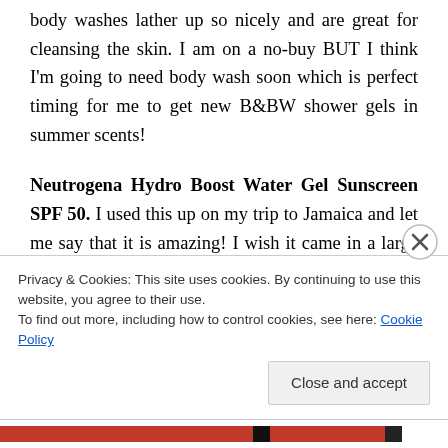body washes lather up so nicely and are great for cleansing the skin. I am on a no-buy BUT I think I'm going to need body wash soon which is perfect timing for me to get new B&BW shower gels in summer scents!
Neutrogena Hydro Boost Water Gel Sunscreen SPF 50. I used this up on my trip to Jamaica and let me say that it is amazing! I wish it came in a large tube because it really is all I need for the summer. The gel formula blends into my skin quickly and left
Privacy & Cookies: This site uses cookies. By continuing to use this website, you agree to their use.
To find out more, including how to control cookies, see here: Cookie Policy
Close and accept